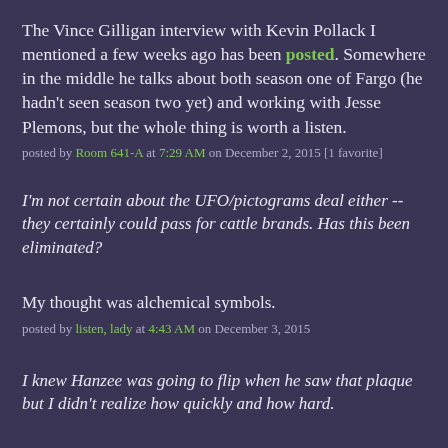The Vince Gilligan interview with Kevin Pollack I mentioned a few weeks ago has been posted. Somewhere in the middle he talks about both season one of Fargo (he hadn't seen season two yet) and working with Jesse Plemons, but the whole thing is worth a listen.
posted by Room 641-A at 7:29 AM on December 2, 2015 [1 favorite]
I'm not certain about the UFO/pictograms deal either -- they certainly could pass for cattle brands. Has this been eliminated?
My thought was alchemical symbols.
posted by listen, lady at 4:43 AM on December 3, 2015
I knew Hanzee was going to flip when he saw that plaque but I didn't realize how quickly and how hard.